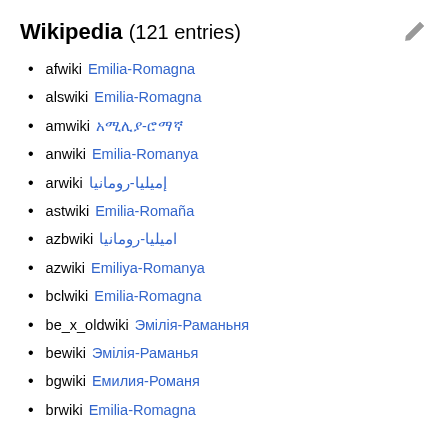Wikipedia (121 entries)
afwiki Emilia-Romagna
alswiki Emilia-Romagna
amwiki አሚሊያ-ሮማኛ
anwiki Emilia-Romanya
arwiki إميليا-رومانيا
astwiki Emilia-Romaña
azbwiki امیلیا-رومانیا
azwiki Emiliya-Romanya
bclwiki Emilia-Romagna
be_x_oldwiki Эмілія-Раманьня
bewiki Эмілія-Раманья
bgwiki Емилия-Романя
brwiki Emilia-Romagna